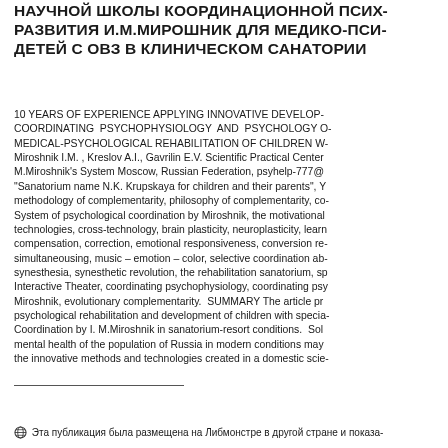НАУЧНОЙ ШКОЛЫ КООРДИНАЦИОННОЙ ПСИХО- РАЗВИТИЯ И.М.МИРОШНИК ДЛЯ МЕДИКО-ПСИ- ДЕТЕЙ С ОВЗ В КЛИНИЧЕСКОМ САНАТОРИИ
10 YEARS OF EXPERIENCE APPLYING INNOVATIVE DEVELOP- COORDINATING PSYCHOPHYSIOLOGY AND PSYCHOLOGY O- MEDICAL-PSYCHOLOGICAL REHABILITATION OF CHILDREN W- Miroshnik I.M. , Kreslov A.I., Gavrilin E.V. Scientific Practical Center M.Miroshnik's System Moscow, Russian Federation, psyhelp-777@ "Sanatorium name N.K. Krupskaya for children and their parents", Y methodology of complementarity, philosophy of complementarity, co- System of psychological coordination by Miroshnik, the motivational technologies, cross-technology, brain plasticity, neuroplasticity, learn compensation, correction, emotional responsiveness, conversion re- simultaneousing, music – emotion – color, selective coordination ab- synesthesia, synesthetic revolution, the rehabilitation sanatorium, sp Interactive Theater, coordinating psychophysiology, coordinating psy Miroshnik, evolutionary complementarity.  SUMMARY The article pr psychological rehabilitation and development of children with specia- Coordination by I. M.Miroshnik in sanatorium-resort conditions. Sol mental health of the population of Russia in modern conditions may the innovative methods and technologies created in a domestic scie-
Эта публикация была размещена на Либмонстре в другой стране и показа-